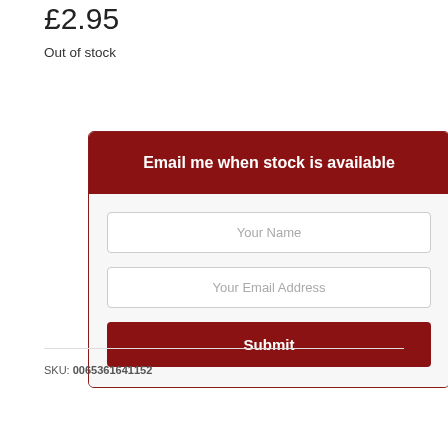£2.95
Out of stock
[Figure (screenshot): Email notification signup form with dark red header 'Email me when stock is available', input fields for 'Your Name' and 'Your Email Address', and a dark red 'Submit' button]
SKU: 0065361641152